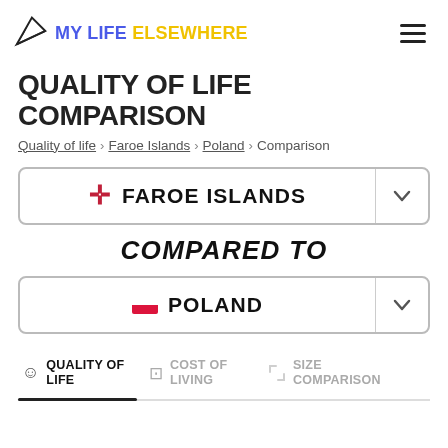MY LIFE ELSEWHERE
QUALITY OF LIFE COMPARISON
Quality of life > Faroe Islands > Poland > Comparison
✛ FAROE ISLANDS
COMPARED TO
🇵🇱 POLAND
QUALITY OF LIFE | COST OF LIVING | SIZE COMPARISON